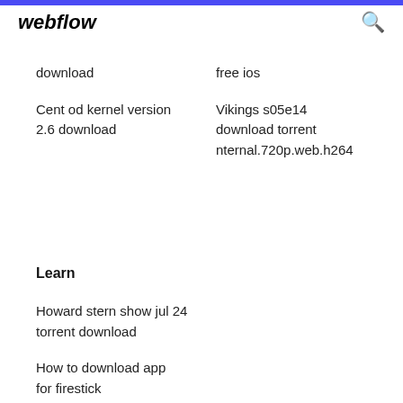webflow
download
free ios
Cent od kernel version 2.6 download
Vikings s05e14 download torrent nternal.720p.web.h264
Learn
Howard stern show jul 24 torrent download
How to download app for firestick